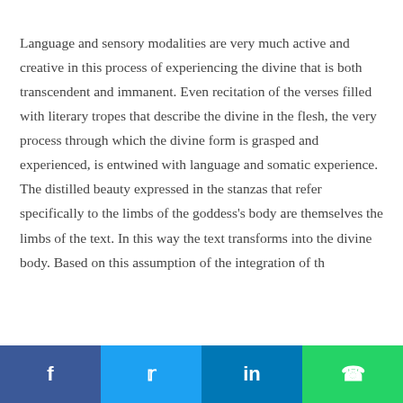Language and sensory modalities are very much active and creative in this process of experiencing the divine that is both transcendent and immanent. Even recitation of the verses filled with literary tropes that describe the divine in the flesh, the very process through which the divine form is grasped and experienced, is entwined with language and somatic experience. The distilled beauty expressed in the stanzas that refer specifically to the limbs of the goddess's body are themselves the limbs of the text. In this way the text transforms into the divine body. Based on this assumption of the integration of th